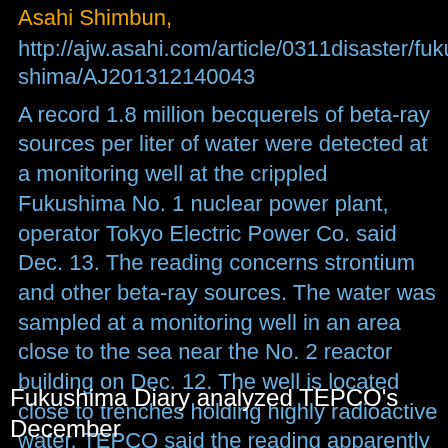Asahi Shimbun, http://ajw.asahi.com/article/0311disaster/fukushima/AJ201312140043
A record 1.8 million becquerels of beta-ray sources per liter of water were detected at a monitoring well at the crippled Fukushima No. 1 nuclear power plant, operator Tokyo Electric Power Co. said Dec. 13. The reading concerns strontium and other beta-ray sources. The water was sampled at a monitoring well in an area close to the sea near the No. 2 reactor building on Dec. 12. The well is located close to trenches holding highly radioactive water. TEPCO said the reading apparently spiked after highly radioactive water seeped into the surroundings through failed parts of the trenches
Fukushima Diary analyzed TEPCO's December